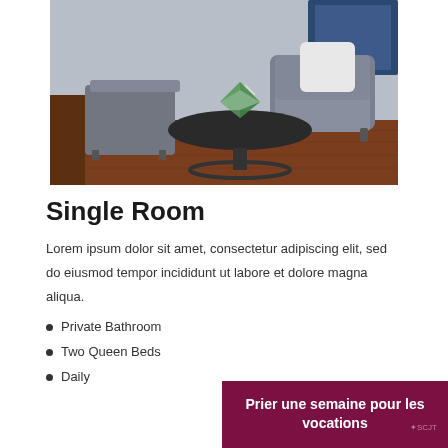[Figure (photo): A hotel room sitting area with a grey armchair with white pillow, a dark round coffee table with a geometric glass terrarium on top, a grey cube ottoman, hardwood flooring, and blue-grey walls.]
Single Room
Lorem ipsum dolor sit amet, consectetur adipiscing elit, sed do eiusmod tempor incididunt ut labore et dolore magna aliqua.
Private Bathroom
Two Queen Beds
Daily
Prier une semaine pour les vocations